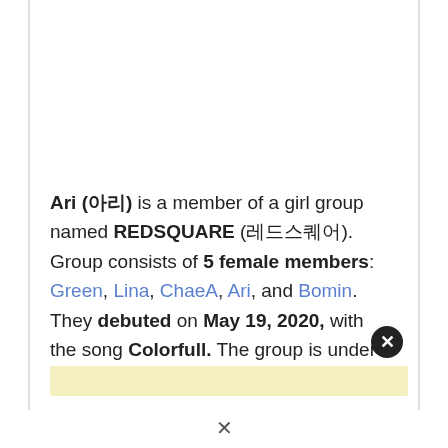Ari (아리) is a member of a girl group named REDSQUARE (레드스퀘어). Group consists of 5 female members: Green, Lina, ChaeA, Ari, and Bomin. They debuted on May 19, 2020, with the song Colorfull. The group is under ICONIC MnE.